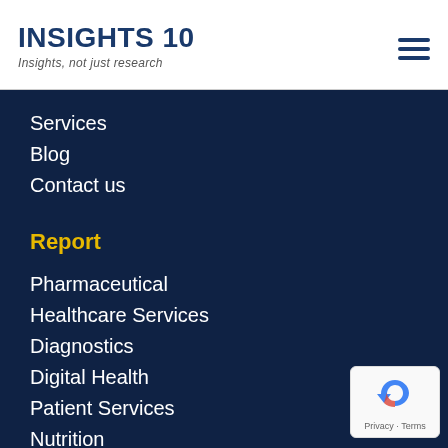INSIGHTS 10 — Insights, not just research
Services
Blog
Contact us
Report
Pharmaceutical
Healthcare Services
Diagnostics
Digital Health
Patient Services
Nutrition
[Figure (logo): reCAPTCHA badge with Privacy and Terms text]